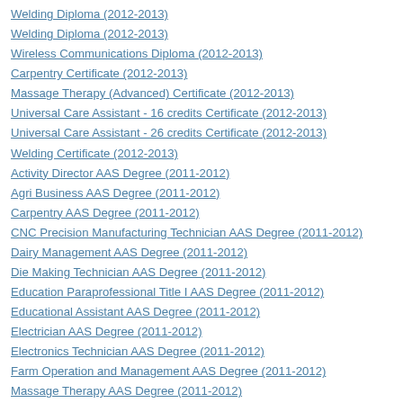Welding Diploma (2012-2013)
Welding Diploma (2012-2013)
Wireless Communications Diploma (2012-2013)
Carpentry Certificate (2012-2013)
Massage Therapy (Advanced) Certificate (2012-2013)
Universal Care Assistant - 16 credits Certificate (2012-2013)
Universal Care Assistant - 26 credits Certificate (2012-2013)
Welding Certificate (2012-2013)
Activity Director AAS Degree (2011-2012)
Agri Business AAS Degree (2011-2012)
Carpentry AAS Degree (2011-2012)
CNC Precision Manufacturing Technician AAS Degree (2011-2012)
Dairy Management AAS Degree (2011-2012)
Die Making Technician AAS Degree (2011-2012)
Education Paraprofessional Title I AAS Degree (2011-2012)
Educational Assistant AAS Degree (2011-2012)
Electrician AAS Degree (2011-2012)
Electronics Technician AAS Degree (2011-2012)
Farm Operation and Management AAS Degree (2011-2012)
Massage Therapy AAS Degree (2011-2012)
Mold Making Technician AAS Degree (2011-2012)
Wireless Communications AAS Degree (2011-2012)
Assistant Activity Director Diploma (2011-2012)
Agri Business Diploma (2011-2012)
Agri Business / Ag Office Management Option Diploma (2011-2012)